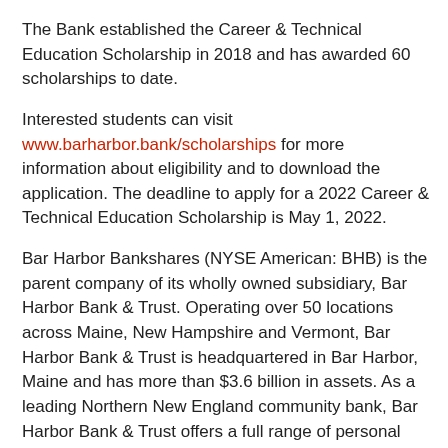The Bank established the Career & Technical Education Scholarship in 2018 and has awarded 60 scholarships to date.
Interested students can visit www.barharbor.bank/scholarships for more information about eligibility and to download the application. The deadline to apply for a 2022 Career & Technical Education Scholarship is May 1, 2022.
Bar Harbor Bankshares (NYSE American: BHB) is the parent company of its wholly owned subsidiary, Bar Harbor Bank & Trust. Operating over 50 locations across Maine, New Hampshire and Vermont, Bar Harbor Bank & Trust is headquartered in Bar Harbor, Maine and has more than $3.6 billion in assets. As a leading Northern New England community bank, Bar Harbor Bank & Trust offers a full range of personal and business banking services, as well as wealth management services through its subsidiaries Bar Harbor Trust Services and Charter Trust Company. For more information about Bar Harbor Bank & Trust, visit www.barharbor.bank or call 888-853-7100. Member FDIC.